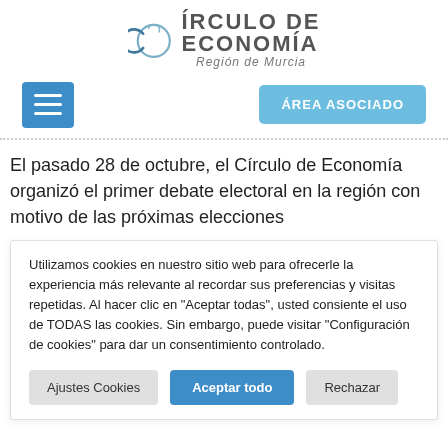[Figure (logo): Círculo de Economía Región de Murcia logo with circular graphic and text]
ÁREA ASOCIADO
El pasado 28 de octubre, el Círculo de Economía organizó el primer debate electoral en la región con motivo de las próximas elecciones
Utilizamos cookies en nuestro sitio web para ofrecerle la experiencia más relevante al recordar sus preferencias y visitas repetidas. Al hacer clic en "Aceptar todas", usted consiente el uso de TODAS las cookies. Sin embargo, puede visitar "Configuración de cookies" para dar un consentimiento controlado.
Ajustes Cookies | Aceptar todo | Rechazar